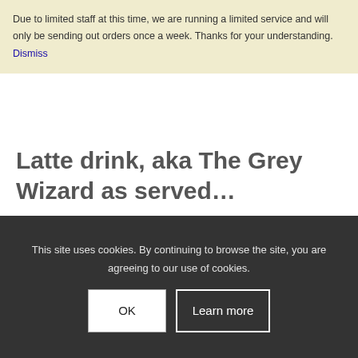Due to limited staff at this time, we are running a limited service and will only be sending out orders once a week. Thanks for your understanding. Dismiss
Latte drink, aka The Grey Wizard as served…
0 Comments | December 3, 2020
This site uses cookies. By continuing to browse the site, you are agreeing to our use of cookies.
OK
Learn more